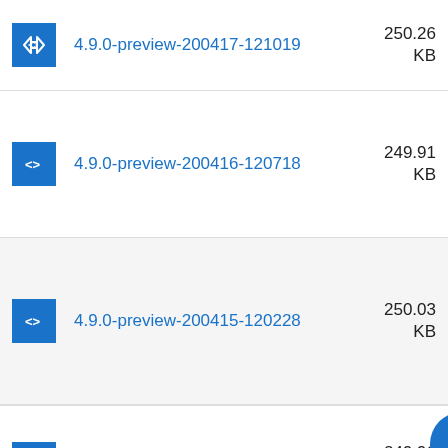4.9.0-preview-200417-121019 — 250.26 KB
4.9.0-preview-200416-120718 — 249.91 KB
4.9.0-preview-200415-120228 — 250.03 KB
4.9.0-preview-200414-119950 — 249.96 KB